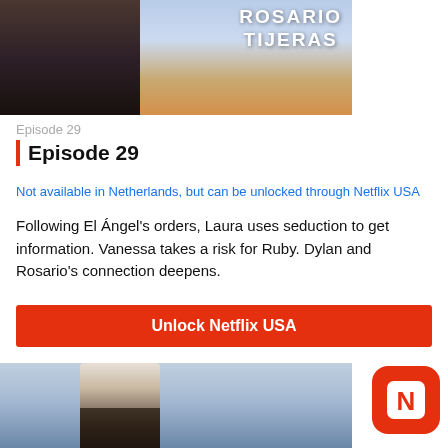[Figure (photo): TV show poster for Rosario Tijeras showing a woman in black with rosary beads against a sky background]
Episode 29
Episode 29
Not available in Netherlands, but can be unlocked through Netflix USA
Following El Ángel's orders, Laura uses seduction to get information. Vanessa takes a risk for Ruby. Dylan and Rosario's connection deepens.
Unlock Netflix USA
[Figure (photo): Second TV show episode thumbnail showing a woman against a blue sky background]
[Figure (logo): NFC/Netflix app icon - orange rounded square with white N logo]